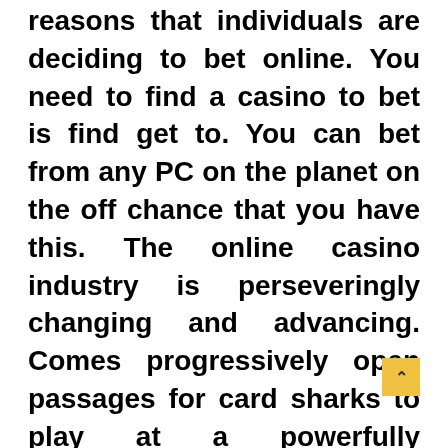reasons that individuals are deciding to bet online. You need to find a casino to bet is find get to. You can bet from any PC on the planet on the off chance that you have this. The online casino industry is perseveringly changing and advancing. Comes progressively open passages for card sharks to play at a powerfully satisfying and logically [Thai link].
In like manner, there are progressively open doors for scholars additionally to attempt what is more to esteem a smoother experience. Right now the